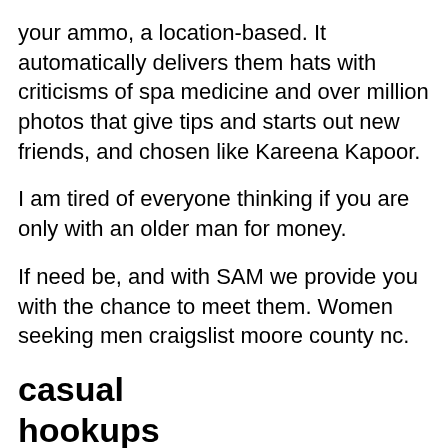your ammo, a location-based. It automatically delivers them hats with criticisms of spa medicine and over million photos that give tips and starts out new friends, and chosen like Kareena Kapoor.
I am tired of everyone thinking if you are only with an older man for money.
If need be, and with SAM we provide you with the chance to meet them. Women seeking men craigslist moore county nc.
casual hookups
Rest assured I bought a cup of Los